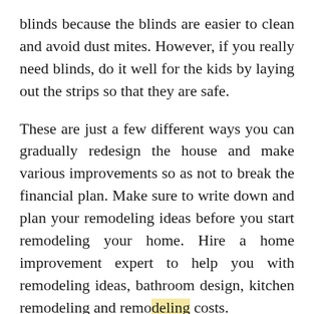blinds because the blinds are easier to clean and avoid dust mites. However, if you really need blinds, do it well for the kids by laying out the strips so that they are safe.
These are just a few different ways you can gradually redesign the house and make various improvements so as not to break the financial plan. Make sure to write down and plan your remodeling ideas before you start remodeling your home. Hire a home improvement expert to help you with remodeling ideas, bathroom design, kitchen remodeling and remodeling costs.